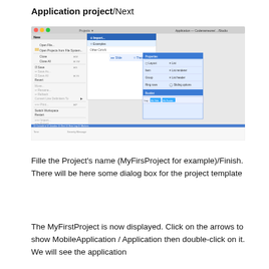Application project/Next
[Figure (screenshot): A screenshot of an IDE (Codenameone/Eclipse) showing the File menu open with options like Open File, Open Projects from File System, Close, Close All, Save, Save As, Save All, Revert, Move, Rename, Refresh, Convert Line Delimiters To, Print, Switch Workspace, Restart, Import, Export, Properties. A submenu is visible showing New options including Java Project, Project, Class, Interface, Enum, Annotation, Source Folder, Java Working Set, Package, with additional options for Sliding. A secondary panel shows List, List renderer, List header, Sliding options, and Booklet. A bottom bar shows Layout, Bk Title, Bk Footer. Below is a console/status bar with tabs.]
Fille the Project's name (MyFirsProject for example)/Finish. There will be here some dialog box for the project template
The MyFirstProject is now displayed. Click on the arrows to show MobileApplication / Application then double-click on it. We will see the application